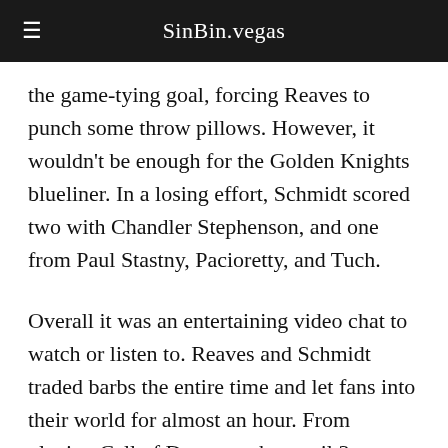SinBin.vegas
the game-tying goal, forcing Reaves to punch some throw pillows. However, it wouldn't be enough for the Golden Knights blueliner. In a losing effort, Schmidt scored two with Chandler Stephenson, and one from Paul Stastny, Pacioretty, and Tuch.
Overall it was an entertaining video chat to watch or listen to. Reaves and Schmidt traded barbs the entire time and let fans into their world for almost an hour. From playing Call of Duty together until 3am, or Schmidt's house moving, and Reaves' new passion for smoking and slow-cooking meat, it's all in there. If anything, watching the two talk trash and play video